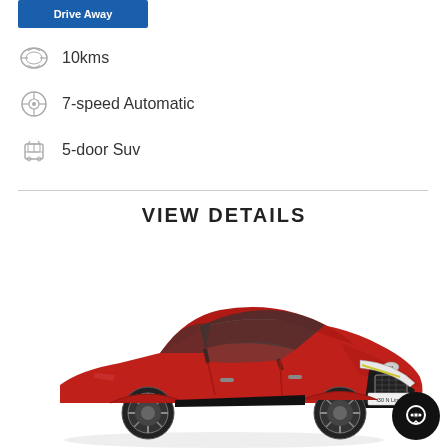Drive Away
10kms
7-speed Automatic
5-door Suv
VIEW DETAILS
[Figure (photo): Red Hyundai i30 N Line hatchback car photographed from a front-right angle on a white background. License plate reads 'i30 N Line'.]